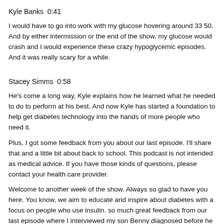Kyle Banks  0:41
I would have to go into work with my glucose hovering around 33 50. And by either intermission or the end of the show, my glucose would crash and I would experience these crazy hypoglycemic episodes. And it was really scary for a while.
Stacey Simms  0:58
He's come a long way, Kyle explains how he learned what he needed to do to perform at his best. And now Kyle has started a foundation to help get diabetes technology into the hands of more people who need it.
Plus, I got some feedback from you about our last episode. I'll share that and a little bit about back to school. This podcast is not intended as medical advice. If you have those kinds of questions, please contact your health care provider.
Welcome to another week of the show. Always so glad to have you here. You know, we aim to educate and inspire about diabetes with a focus on people who use insulin. so much great feedback from our last episode where I interviewed my son Benny diagnosed before he was two now he's 16. And he went away for a month this summer to Israel without us with a non-diabetes camp program. So if you've listened, and you send me feedback, I really appreciate it. As I shared during that episode, I was nervous because we are